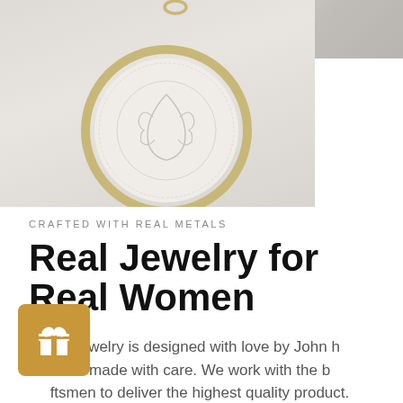[Figure (photo): Two overlapping photos: left/main shows a circular gold pendant necklace with a white cameo relief design against a light gray background; right shows a partial view of a person wearing light/white fabric clothing]
CRAFTED WITH REAL METALS
Real Jewelry for Real Women
All our jewelry is designed with love by John h... and made with care. We work with the b...ftsmen to deliver the highest quality product.
[Figure (illustration): Gold/amber colored gift widget button with a gift box icon (ribbon and bow) in white, positioned in bottom-left corner]